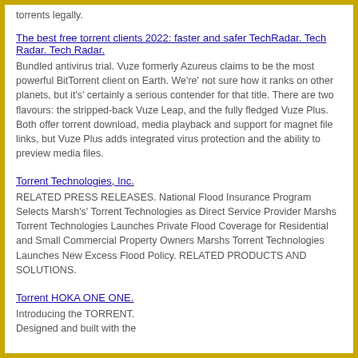torrents legally.
The best free torrent clients 2022: faster and safer TechRadar. Tech Radar. Tech Radar.
Bundled antivirus trial. Vuze formerly Azureus claims to be the most powerful BitTorrent client on Earth. We're' not sure how it ranks on other planets, but it's' certainly a serious contender for that title. There are two flavours: the stripped-back Vuze Leap, and the fully fledged Vuze Plus. Both offer torrent download, media playback and support for magnet file links, but Vuze Plus adds integrated virus protection and the ability to preview media files.
Torrent Technologies, Inc.
RELATED PRESS RELEASES. National Flood Insurance Program Selects Marsh's' Torrent Technologies as Direct Service Provider Marshs Torrent Technologies Launches Private Flood Coverage for Residential and Small Commercial Property Owners Marshs Torrent Technologies Launches New Excess Flood Policy. RELATED PRODUCTS AND SOLUTIONS.
Torrent HOKA ONE ONE.
Introducing the TORRENT. Designed and built with the